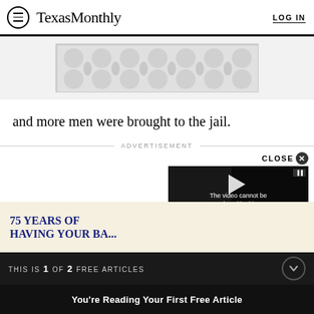TexasMonthly | LOG IN
[Figure (other): Decorative advertisement banner with abstract pattern of circles and droplet shapes in gray tones]
and more men were brought to the jail.
ADVERTISEMENT
CLOSE ✕
[Figure (screenshot): Video player overlay showing 'The video cannot be played in this browser.' message with Ghostland Observatory Performs... title and MORE button]
[Figure (other): Advertisement: 75 YEARS OF HAVING YOUR BA...]
THIS IS 1 OF 2 FREE ARTICLES
You're Reading Your First Free Article